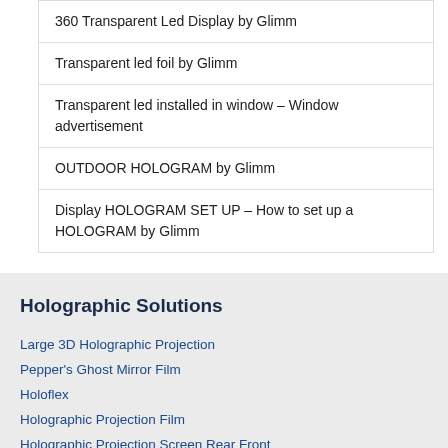360 Transparent Led Display by Glimm
Transparent led foil by Glimm
Transparent led installed in window – Window advertisement
OUTDOOR HOLOGRAM by Glimm
Display HOLOGRAM SET UP – How to set up a HOLOGRAM by Glimm
Holographic Solutions
Large 3D Holographic Projection
Pepper's Ghost Mirror Film
Holoflex
Holographic Projection Film
Holographic Projection Screen Rear Front